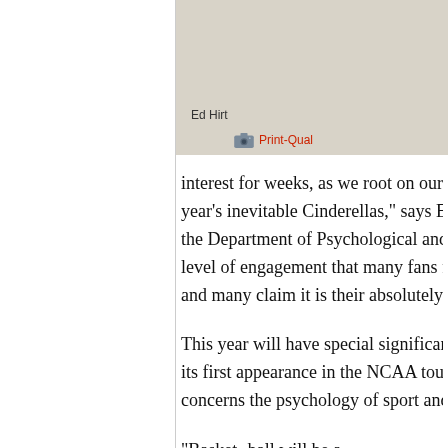[Figure (photo): Photo of Ed Hirt with a beige/tan background]
Ed Hirt
Print-Qual...
interest for weeks, as we root on our fa- year's inevitable Cinderellas," says Edw- the Department of Psychological and B- level of engagement that many fans fee- and many claim it is their absolutely fa-
This year will have special significance- its first appearance in the NCAA tourna- concerns the psychology of sport and re-
"Basket- ball will be...